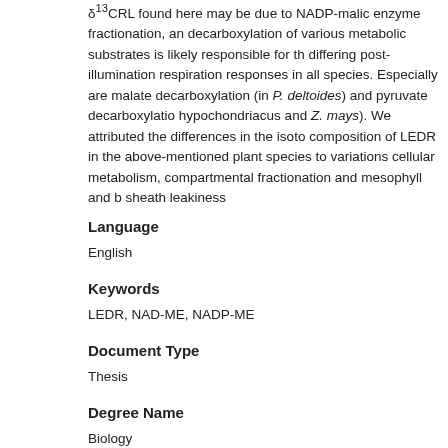δ13CRL found here may be due to NADP-malic enzyme fractionation, an decarboxylation of various metabolic substrates is likely responsible for th differing post-illumination respiration responses in all species. Especially are malate decarboxylation (in P. deltoides) and pyruvate decarboxylatio hypochondriacus and Z. mays). We attributed the differences in the isoto composition of LEDR in the above-mentioned plant species to variations cellular metabolism, compartmental fractionation and mesophyll and b sheath leakiness
Language
English
Keywords
LEDR, NAD-ME, NADP-ME
Document Type
Thesis
Degree Name
Biology
Level of Degree
Masters
Department Name
UNM Biology Department